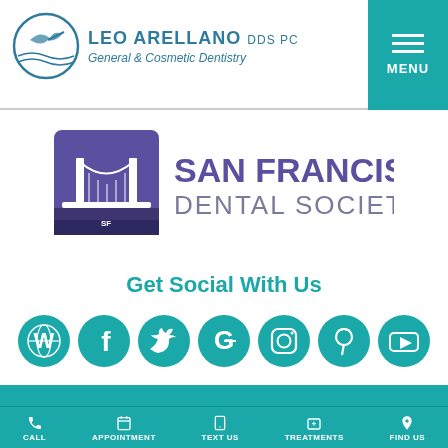[Figure (logo): Leo Arellano DDS PC General & Cosmetic Dentistry logo with circular emblem]
[Figure (logo): San Francisco Dental Society logo with Golden Gate Bridge icon]
Get Social With Us
[Figure (infographic): Row of 7 teal social media icons: WordPress, Facebook, Twitter, Google, Instagram, Pinterest, YouTube]
"Why choose us?"
CALL | APPOINTMENT | TEXT US | TREATMENTS | FIND US